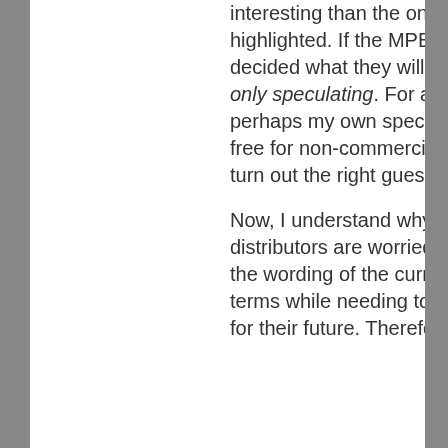interesting than the one you have highlighted. If the MPEGLA haven't decided what they will do, then we are only speculating. For all we know, perhaps my own speculation (royalty-free for non-commercial usage) could turn out the right guess!
Now, I understand why content distributors are worried, especially with the wording of the current licensing terms while needing to make a choice for their future. Therefore, the